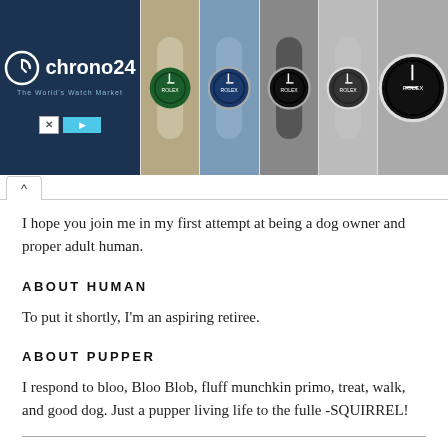[Figure (other): Chrono24 advertisement banner featuring the Chrono24 logo on a dark navy background on the left, and five watch images (luxury watches) displayed side by side on the right.]
I hope you join me in my first attempt at being a dog owner and proper adult human.
ABOUT HUMAN
To put it shortly, I'm an aspiring retiree.
ABOUT PUPPER
I respond to bloo, Bloo Blob, fluff munchkin primo, treat, walk, and good dog. Just a pupper living life to the fulle -SQUIRREL!